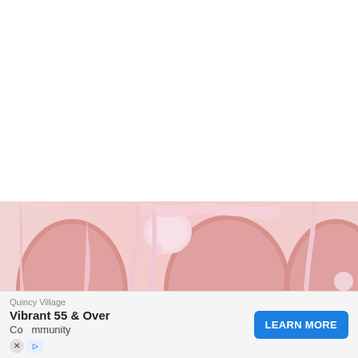[Figure (photo): Close-up photo of a pink frosted cake with dripping pink icing and rounded cake layers visible. The image is soft and pastel-toned with a light pink color palette.]
Quincy Village
Vibrant 55 & Over
mmunity
LEARN MORE